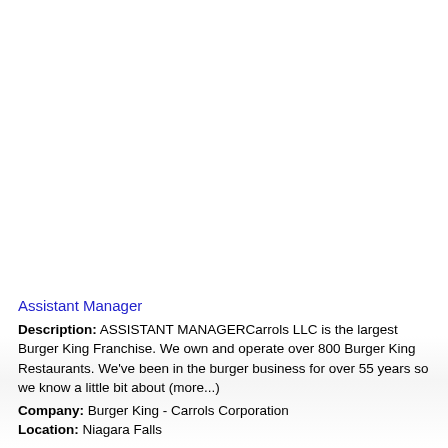Assistant Manager
Description: ASSISTANT MANAGERCarrols LLC is the largest Burger King Franchise. We own and operate over 800 Burger King Restaurants. We've been in the burger business for over 55 years so we know a little bit about (more...)
Company: Burger King - Carrols Corporation
Location: Niagara Falls